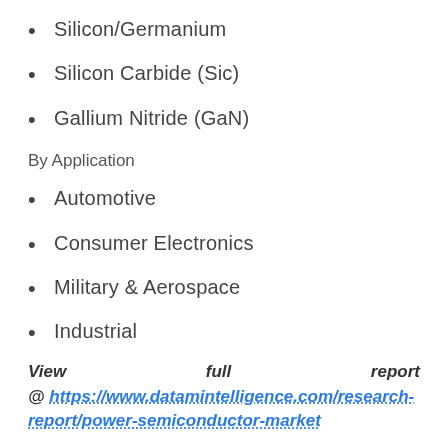Silicon/Germanium
Silicon Carbide (Sic)
Gallium Nitride (GaN)
By Application
Automotive
Consumer Electronics
Military & Aerospace
Industrial
View full report @ https://www.datamintelligence.com/research-report/power-semiconductor-market